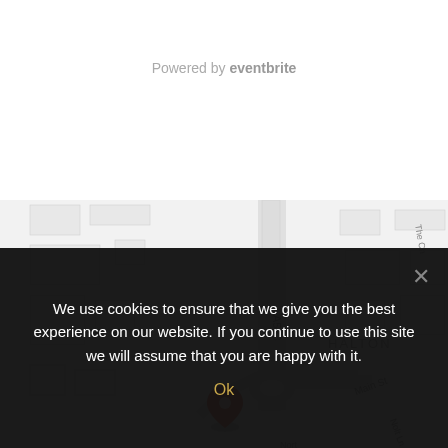Powered by eventbrite
[Figure (map): Street map showing Halton area with roads A533, Riversdale Rd, Lodge Ln, Main St, Nolt Ln, The Ch. A red location pin is visible near the center-bottom of the map.]
We use cookies to ensure that we give you the best experience on our website. If you continue to use this site we will assume that you are happy with it.
Ok